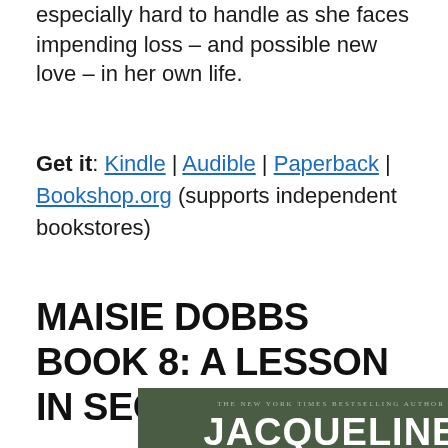especially hard to handle as she faces impending loss – and possible new love – in her own life.
Get it: Kindle | Audible | Paperback | Bookshop.org (supports independent bookstores)
MAISIE DOBBS BOOK 8: A LESSON IN SECRETS
[Figure (photo): Book cover of a Jacqueline Winspear novel with dark green background showing author name in large white bold text and a subtitle line reading 'The New York Times Bestselling Author']